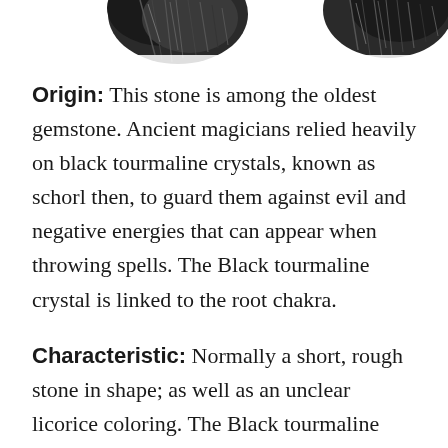[Figure (photo): Partial view of black tourmaline crystals against white background, cropped at top of page]
Origin: This stone is among the oldest gemstone. Ancient magicians relied heavily on black tourmaline crystals, known as schorl then, to guard them against evil and negative energies that can appear when throwing spells. The Black tourmaline crystal is linked to the root chakra.
Characteristic: Normally a short, rough stone in shape; as well as an unclear licorice coloring. The Black tourmaline crystals are generally worn around the neck, like the talisman, because of the view that it absorbs